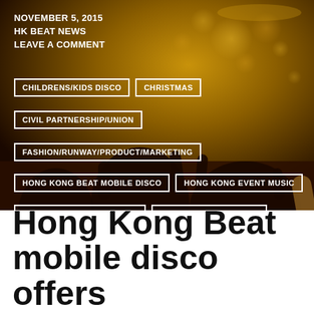NOVEMBER 5, 2015
HK BEAT NEWS
LEAVE A COMMENT
CHILDRENS/KIDS DISCO
CHRISTMAS
CIVIL PARTNERSHIP/UNION
FASHION/RUNWAY/PRODUCT/MARKETING
HONG KONG BEAT MOBILE DISCO
HONG KONG EVENT MUSIC
HONG KONG MOBILE DISCO
HONG KONG MOBILE DJ
HONG KONG PARTY DJ
HONG KONG PARTY MUSIC
HONG KONG WEDDING DISCO
HONG KONG WEDDING DJ
ICONIC PARTIES
SILENT DISCO
[Figure (photo): Dark background photo of people at a party with hands raised, warm golden bokeh lighting and chandelier visible]
Hong Kong Beat mobile disco offers